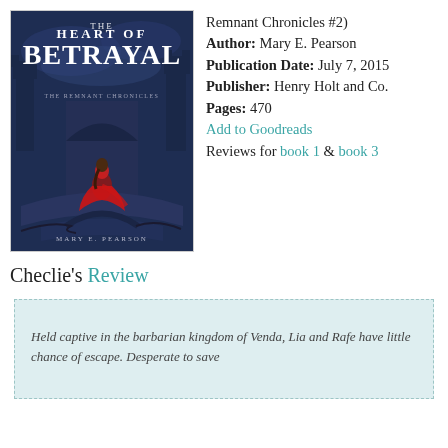[Figure (photo): Book cover of 'The Heart of Betrayal' by Mary E. Pearson, showing a woman in a red dress on a stone bridge with a dark fantasy castle background]
Remnant Chronicles #2)
Author: Mary E. Pearson
Publication Date: July 7, 2015
Publisher: Henry Holt and Co.
Pages: 470
Add to Goodreads
Reviews for book 1 & book 3
Checlie's Review
Held captive in the barbarian kingdom of Venda, Lia and Rafe have little chance of escape. Desperate to save